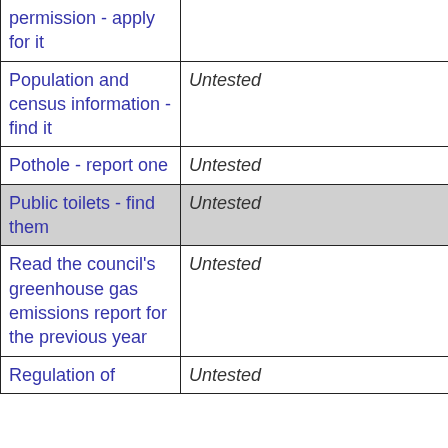| Task/Service | Status |
| --- | --- |
| permission - apply for it |  |
| Population and census information - find it | Untested |
| Pothole - report one | Untested |
| Public toilets - find them | Untested |
| Read the council's greenhouse gas emissions report for the previous year | Untested |
| Regulation of | Untested |